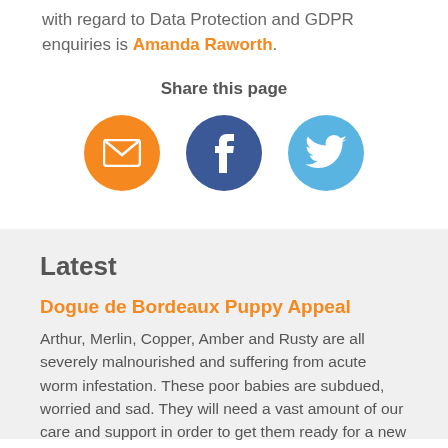with regard to Data Protection and GDPR enquiries is Amanda Raworth.
Share this page
[Figure (infographic): Three social sharing icons: email (orange circle), Facebook (dark blue circle), Twitter (light blue circle)]
Latest
Dogue de Bordeaux Puppy Appeal
Arthur, Merlin, Copper, Amber and Rusty are all severely malnourished and suffering from acute worm infestation. These poor babies are subdued, worried and sad. They will need a vast amount of our care and support in order to get them ready for a new home and a better